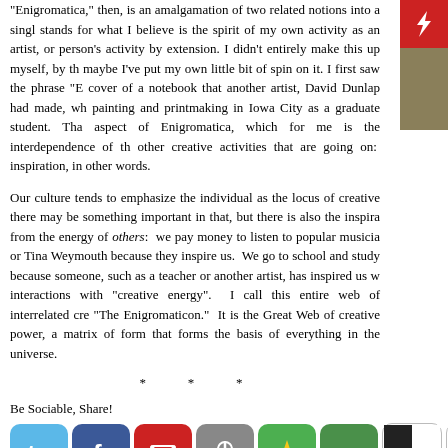"Enigromatica," then, is an amalgamation of two related notions into a single stands for what I believe is the spirit of my own activity as an artist, or person's activity by extension. I didn't entirely make this up myself, by the maybe I've put my own little bit of spin on it. I first saw the phrase "E cover of a notebook that another artist, David Dunlap had made, wh painting and printmaking in Iowa City as a graduate student. Tha aspect of Enigromatica, which for me is the interdependence of th other creative activities that are going on: inspiration, in other words.
Our culture tends to emphasize the individual as the locus of creative there may be something important in that, but there is also the inspira from the energy of others: we pay money to listen to popular musicia or Tina Weymouth because they inspire us. We go to school and study because someone, such as a teacher or another artist, has inspired us w interactions with "creative energy". I call this entire web of interrelated cre "The Enigromaticon." It is the Great Web of creative power, a matrix of form that forms the basis of everything in the universe.
* * *
Be Sociable, Share!
[Figure (other): Social sharing icons: Twitter, Facebook, Email, Pinterest, Favorites star, StumbleUpon, Delicious, Buzz, LinkedIn, and a More button]
[Figure (other): Flash plugin badge in upper right corner]